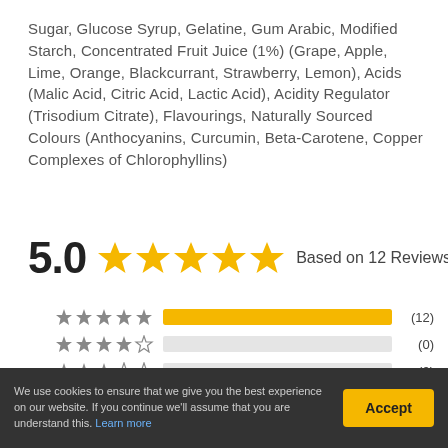Sugar, Glucose Syrup, Gelatine, Gum Arabic, Modified Starch, Concentrated Fruit Juice (1%) (Grape, Apple, Lime, Orange, Blackcurrant, Strawberry, Lemon), Acids (Malic Acid, Citric Acid, Lactic Acid), Acidity Regulator (Trisodium Citrate), Flavourings, Naturally Sourced Colours (Anthocyanins, Curcumin, Beta-Carotene, Copper Complexes of Chlorophyllins)
[Figure (other): Star rating display: 5.0 rating with 5 filled gold stars, Based on 12 Reviews]
[Figure (bar-chart): Rating Breakdown]
We use cookies to ensure that we give you the best experience on our website. If you continue we'll assume that you are understand this. Learn more